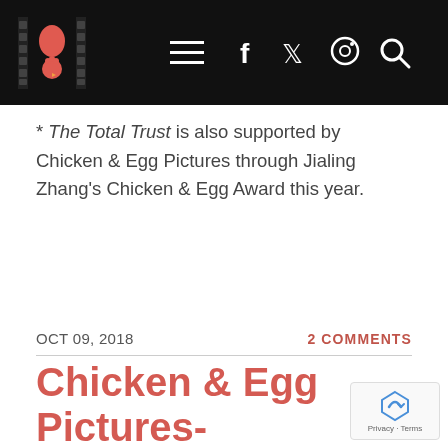Chicken & Egg Pictures website header with logo, hamburger menu, and social icons (Facebook, Twitter, Instagram, Search)
* The Total Trust is also supported by Chicken & Egg Pictures through Jialing Zhang's Chicken & Egg Award this year.
OCT 09, 2018   2 COMMENTS
Chicken & Egg Pictures-supported Filmmakers are DOC NYC Pros